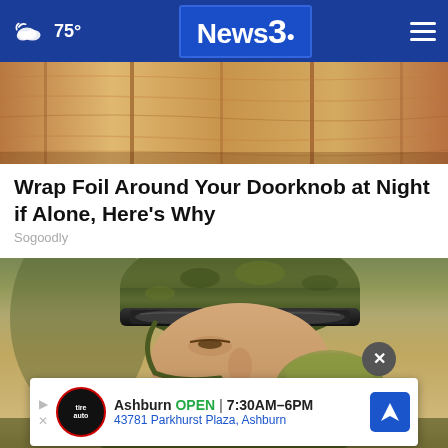75° News 3
[Figure (photo): Close-up photo of wooden door panels with warm brown tones]
Wrap Foil Around Your Doorknob at Night if Alone, Here's Why
Sogoodly
[Figure (photo): Close-up photo of a soldier wearing a camouflage helmet and goggles, drinking from a canteen]
Ashburn OPEN | 7:30AM–6PM
43781 Parkhurst Plaza, Ashburn